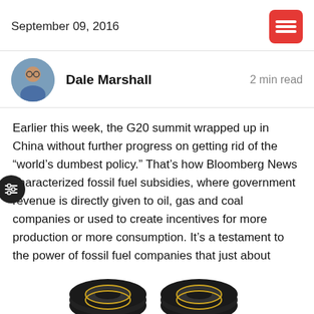September 09, 2016
Dale Marshall   2 min read
Earlier this week, the G20 summit wrapped up in China without further progress on getting rid of the “world’s dumbest policy.” That’s how Bloomberg News characterized fossil fuel subsidies, where government revenue is directly given to oil, gas and coal companies or used to create incentives for more production or more consumption. It’s a testament to the power of fossil fuel companies that just about every country, including Canada, continues to do this. It’s one more reason why we need federal climate action now.
[Figure (photo): Partial view of stacked black rubber tires at the bottom of the image]